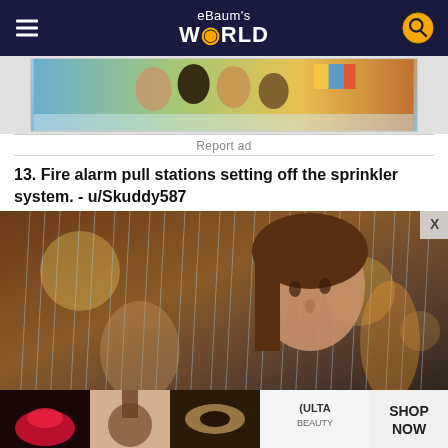eBaum's WORLD
[Figure (photo): Advertisement banner showing group of happy young people in a car with a colorful flag]
Report ad
13. Fire alarm pull stations setting off the sprinkler system. - u/Skuddy587
[Figure (photo): A young woman with brown hair standing in rain water indoors, with blurred people and warm lights in background]
[Figure (photo): Ulta Beauty advertisement banner showing makeup products and eyes]